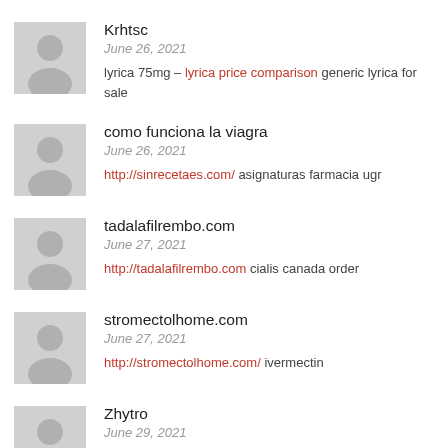Krhtsc
June 26, 2021
lyrica 75mg – lyrica price comparison generic lyrica for sale
como funciona la viagra
June 26, 2021
http://sinrecetaes.com/ asignaturas farmacia ugr
tadalafilrembo.com
June 27, 2021
http://tadalafilrembo.com cialis canada order
stromectolhome.com
June 27, 2021
http://stromectolhome.com/ ivermectin
Zhytro
June 29, 2021